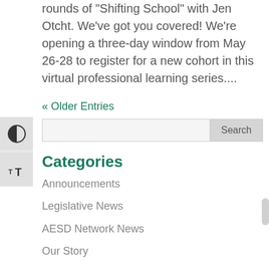rounds of 'Shifting School' with Jen Otcht. We've got you covered! We're opening a three-day window from May 26-28 to register for a new cohort in this virtual professional learning series....
« Older Entries
Search
Categories
Announcements
Legislative News
AESD Network News
Our Story